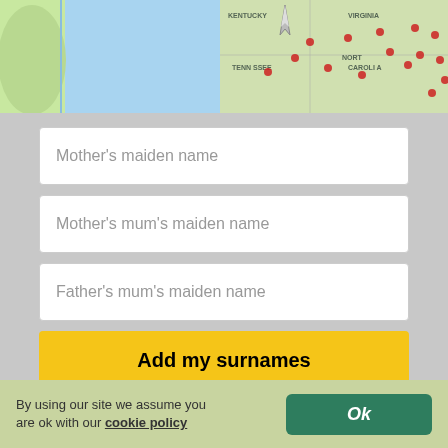[Figure (map): Partial US map showing southeastern states including Tennessee, Virginia, North Carolina with red dot markers and a cursor/pin icon]
Mother's maiden name
Mother's mum's maiden name
Father's mum's maiden name
Add my surnames
Explore where tribe members live today!
By using our site we assume you are ok with our cookie policy
Ok